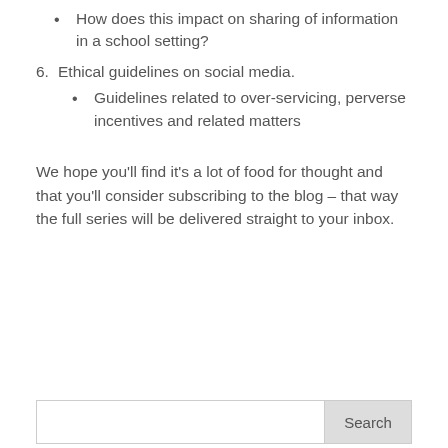How does this impact on sharing of information in a school setting?
6. Ethical guidelines on social media.
Guidelines related to over-servicing, perverse incentives and related matters
We hope you'll find it's a lot of food for thought and that you'll consider subscribing to the blog – that way the full series will be delivered straight to your inbox.